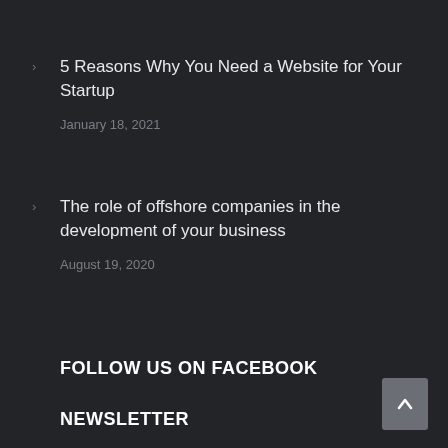5 Reasons Why You Need a Website for Your Startup
January 18, 2021
The role of offshore companies in the development of your business
August 19, 2020
FOLLOW US ON FACEBOOK
NEWSLETTER